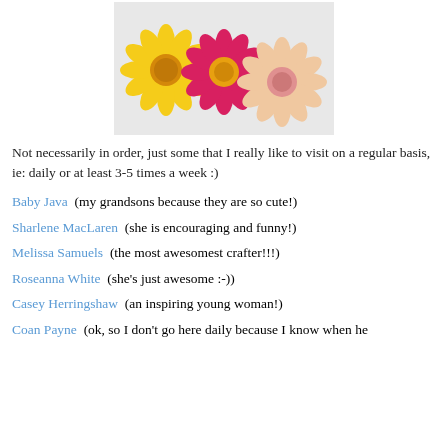[Figure (photo): Three gerbera daisies arranged in a row on a white/light grey background: yellow on the left, pink/magenta in the middle, peach/cream on the right.]
Not necessarily in order, just some that I really like to visit on a regular basis, ie: daily or at least 3-5 times a week :)
Baby Java  (my grandsons because they are so cute!)
Sharlene MacLaren  (she is encouraging and funny!)
Melissa Samuels  (the most awesomest crafter!!!)
Roseanna White  (she's just awesome :-))
Casey Herringshaw  (an inspiring young woman!)
Coan Payne  (ok, so I don't go here daily because I know when he